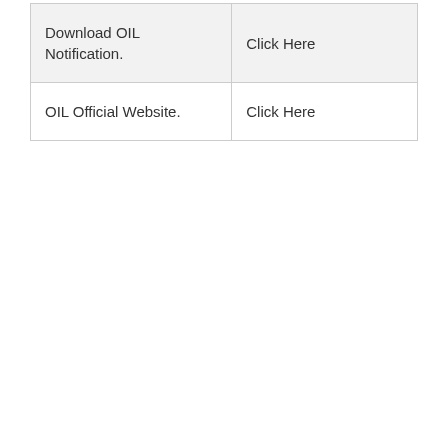| Download OIL Notification. | Click Here |
| OIL Official Website. | Click Here |